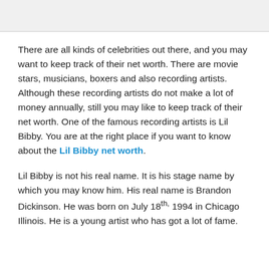There are all kinds of celebrities out there, and you may want to keep track of their net worth. There are movie stars, musicians, boxers and also recording artists. Although these recording artists do not make a lot of money annually, still you may like to keep track of their net worth. One of the famous recording artists is Lil Bibby. You are at the right place if you want to know about the Lil Bibby net worth.
Lil Bibby is not his real name. It is his stage name by which you may know him. His real name is Brandon Dickinson. He was born on July 18th, 1994 in Chicago Illinois. He is a young artist who has got a lot of fame.